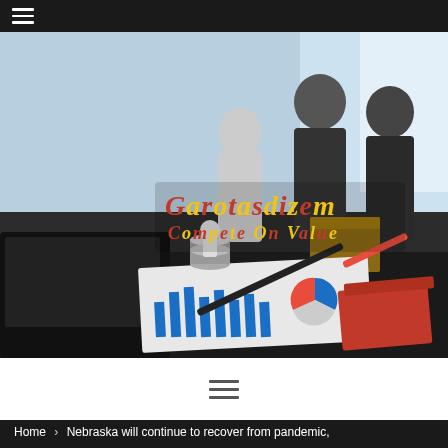☰
[Figure (photo): Business meeting scene with people in suits in the background and a desk with charts, a pen, and financial bar/pie charts in the foreground. Overlay logo: Garotasdizem — Compete On Value]
[Figure (other): Hamburger menu icon (three horizontal lines) on white background]
Home › Nebraska will continue to recover from pandemic,